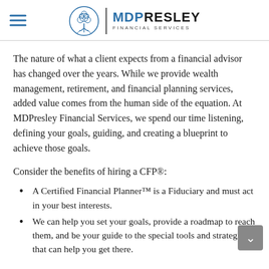MDP RESLEY FINANCIAL SERVICES
The nature of what a client expects from a financial advisor has changed over the years. While we provide wealth management, retirement, and financial planning services, added value comes from the human side of the equation. At MDPresley Financial Services, we spend our time listening, defining your goals, guiding, and creating a blueprint to achieve those goals.
Consider the benefits of hiring a CFP®:
A Certified Financial Planner™ is a Fiduciary and must act in your best interests.
We can help you set your goals, provide a roadmap to reach them, and be your guide to the special tools and strategies that can help you get there.